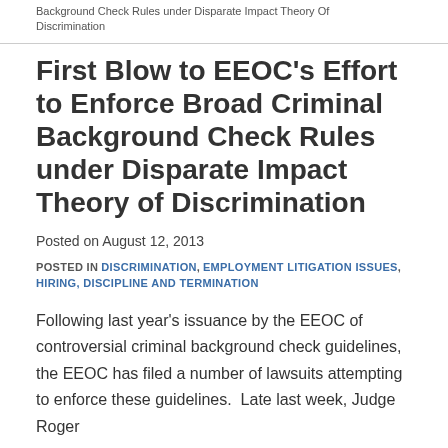Background Check Rules under Disparate Impact Theory Of Discrimination
First Blow to EEOC’s Effort to Enforce Broad Criminal Background Check Rules under Disparate Impact Theory of Discrimination
Posted on August 12, 2013
POSTED IN DISCRIMINATION, EMPLOYMENT LITIGATION ISSUES, HIRING, DISCIPLINE AND TERMINATION
Following last year’s issuance by the EEOC of controversial criminal background check guidelines, the EEOC has filed a number of lawsuits attempting to enforce these guidelines.  Late last week, Judge Roger